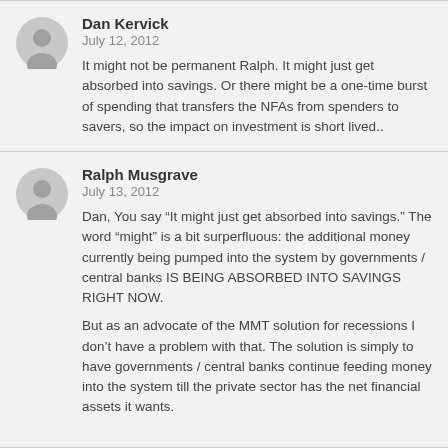Dan Kervick
July 12, 2012

It might not be permanent Ralph. It might just get absorbed into savings. Or there might be a one-time burst of spending that transfers the NFAs from spenders to savers, so the impact on investment is short lived..
Ralph Musgrave
July 13, 2012

Dan, You say “It might just get absorbed into savings.” The word “might” is a bit surperfluous: the additional money currently being pumped into the system by governments / central banks IS BEING ABSORBED INTO SAVINGS RIGHT NOW.

But as an advocate of the MMT solution for recessions I don’t have a problem with that. The solution is simply to have governments / central banks continue feeding money into the system till the private sector has the net financial assets it wants.